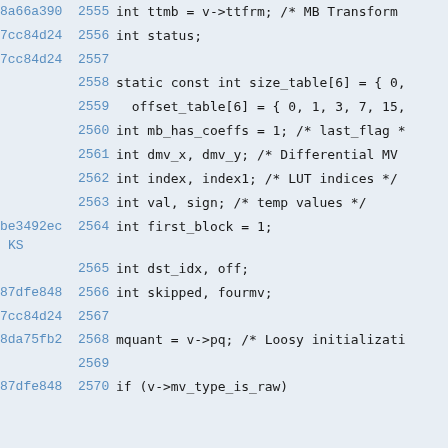Code listing with git blame annotations, lines 2555-2570
| hash | line | code |
| --- | --- | --- |
| 8a66a390 | 2555 | int ttmb = v->ttfrm; /* MB Transform |
| 7cc84d24 | 2556 | int status; |
| 7cc84d24 | 2557 |  |
|  | 2558 | static const int size_table[6] = { 0, |
|  | 2559 |   offset_table[6] = { 0, 1, 3, 7, 15, |
|  | 2560 | int mb_has_coeffs = 1; /* last_flag * |
|  | 2561 | int dmv_x, dmv_y; /* Differential MV |
|  | 2562 | int index, index1; /* LUT indices */ |
|  | 2563 | int val, sign; /* temp values */ |
| be3492ec | 2564 | int first_block = 1; |
| KS |  |  |
|  | 2565 | int dst_idx, off; |
| 87dfe848 | 2566 | int skipped, fourmv; |
| 7cc84d24 | 2567 |  |
| 8da75fb2 | 2568 | mquant = v->pq; /* Loosy initializati |
|  | 2569 |  |
| 87dfe848 | 2570 | if (v->mv_type_is_raw) |